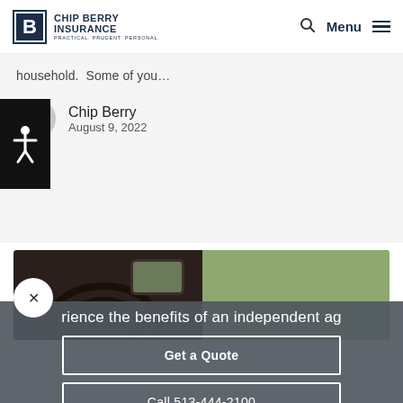Chip Berry Insurance — PRACTICAL. PRUDENT. PERSONAL. | Menu
household.  Some of you…
Chip Berry
August 9, 2022
[Figure (photo): Close-up photo of a car interior showing the steering wheel and side mirror with green foliage in the background]
rience the benefits of an independent ag
Get a Quote
Call 513-444-2100